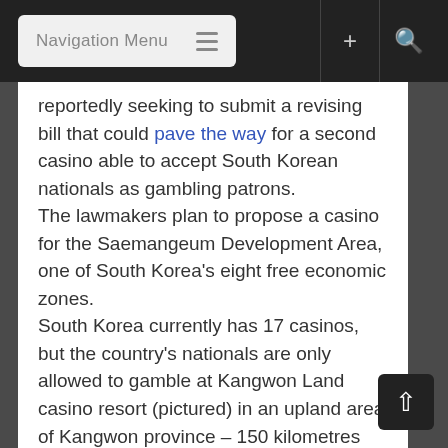Navigation Menu
reportedly seeking to submit a revising bill that could pave the way for a second casino able to accept South Korean nationals as gambling patrons.
The lawmakers plan to propose a casino for the Saemangeum Development Area, one of South Korea's eight free economic zones.
South Korea currently has 17 casinos, but the country’s nationals are only allowed to gamble at Kangwon Land casino resort (pictured) in an upland area of Kangwon province – 150 kilometres (93 miles) from Seoul.
In a statement on Tuesday, Kangwon Land stated that it opposes the plan for a casino in Saemangeum open to South Korean